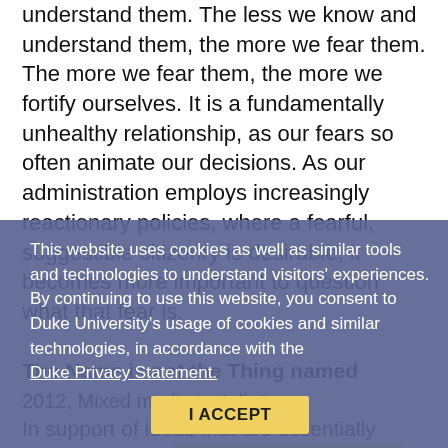understand them. The less we know and understand them, the more we fear them. The more we fear them, the more we fortify ourselves. It is a fundamentally unhealthy relationship, as our fears so often animate our decisions. As our administration employs increasingly reactionary policies, where a fearful, suggestible citizenry is desirable, it becomes more important to question what that fear is.
This website uses cookies as well as similar tools and technologies to understand visitors' experiences. By continuing to use this website, you consent to Duke University's usage of cookies and similar technologies, in accordance with the Duke Privacy Statement.
I ACCEPT
The Name is not the Thing named
2012, Mixed media installation
In support of ideas that are essentially common, but to which language does not easily adhere, The Name is not the Thing named was an exhibit that included a looping video and six large digital prints onto vinyl (various sizes, from 16" x 20" to 96'" x 60"). The video